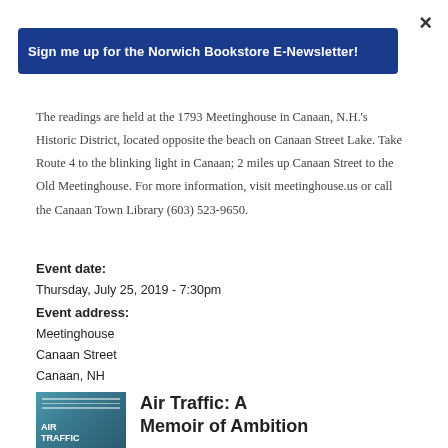×
Sign me up for the Norwich Bookstore E-Newsletter!
The readings are held at the 1793 Meetinghouse in Canaan, N.H.'s Historic District, located opposite the beach on Canaan Street Lake. Take Route 4 to the blinking light in Canaan; 2 miles up Canaan Street to the Old Meetinghouse. For more information, visit meetinghouse.us or call the Canaan Town Library (603) 523-9650.
Event date:
Thursday, July 25, 2019 - 7:30pm
Event address:
Meetinghouse
Canaan Street
Canaan, NH
[Figure (photo): Book cover for Air Traffic showing a person's silhouette against a teal/blue background with the title text AIR TRAFFIC]
Air Traffic: A Memoir of Ambition